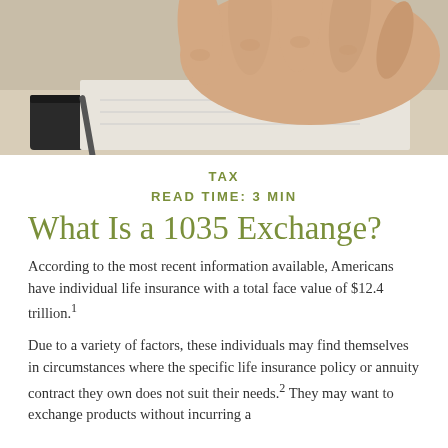[Figure (photo): Close-up photo of hands holding a pen over documents on a desk, with a dark folder or binder visible.]
TAX
READ TIME: 3 MIN
What Is a 1035 Exchange?
According to the most recent information available, Americans have individual life insurance with a total face value of $12.4 trillion.¹
Due to a variety of factors, these individuals may find themselves in circumstances where the specific life insurance policy or annuity contract they own does not suit their needs.² They may want to exchange products without incurring a tax liability.